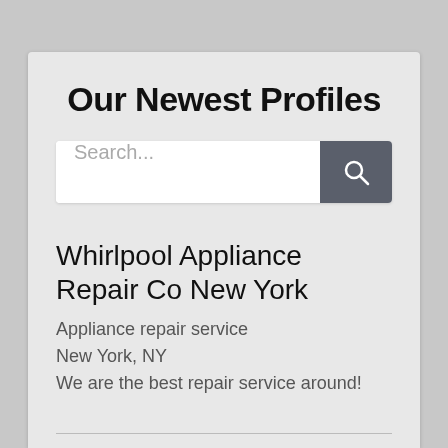Our Newest Profiles
Search...
Whirlpool Appliance Repair Co New York
Appliance repair service
New York, NY
We are the best repair service around!